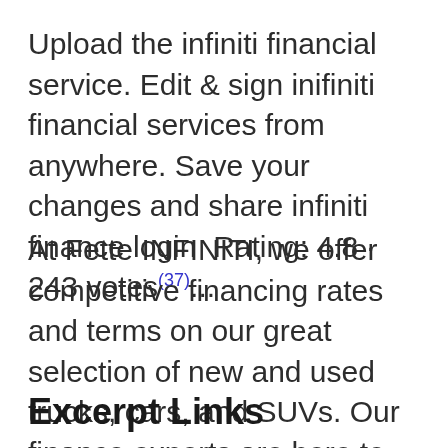Upload the infiniti financial service. Edit & sign inifiniti financial services from anywhere. Save your changes and share infiniti finance login  Rating: 4.8 · 243 votes(37)...
At Fette INFINITI, we offer competitive financing rates and terms on our great selection of new and used trucks, cars, and SUVs. Our finance experts are here to (38)...
Excerpt Links